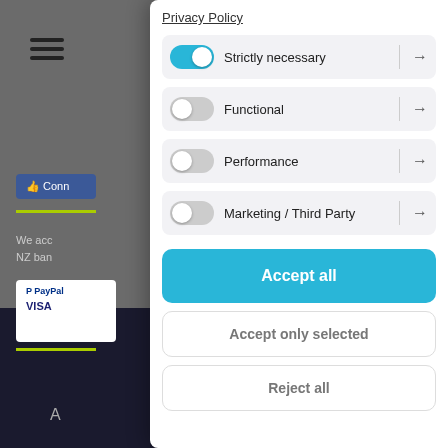Privacy Policy
Strictly necessary
Functional
Performance
Marketing / Third Party
Accept all
Accept only selected
Reject all